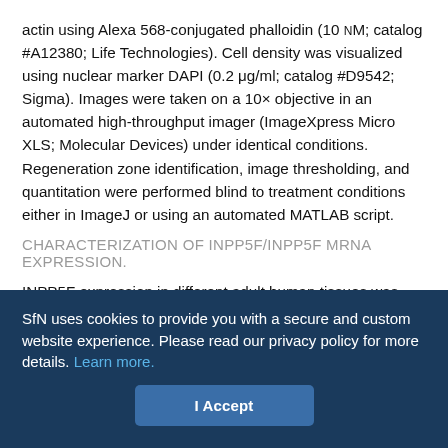actin using Alexa 568-conjugated phalloidin (10 nM; catalog #A12380; Life Technologies). Cell density was visualized using nuclear marker DAPI (0.2 μg/ml; catalog #D9542; Sigma). Images were taken on a 10× objective in an automated high-throughput imager (ImageXpress Micro XLS; Molecular Devices) under identical conditions. Regeneration zone identification, image thresholding, and quantitation were performed blind to treatment conditions either in ImageJ or using an automated MATLAB script.
CHARACTERIZATION OF INPP5F/INPP5F MRNA EXPRESSION.
INPP5F expression in different adult human tissues was measured using RNA-seq by the Illumina Human Body Map 2.0 project. Data were accessed via NCBI AceView
SfN uses cookies to provide you with a secure and custom website experience. Please read our privacy policy for more details. Learn more.